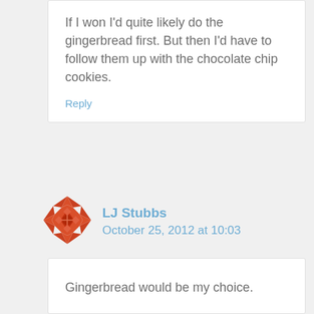If I won I'd quite likely do the gingerbread first. But then I'd have to follow them up with the chocolate chip cookies.
Reply
LJ Stubbs
October 25, 2012 at 10:03
Gingerbread would be my choice.